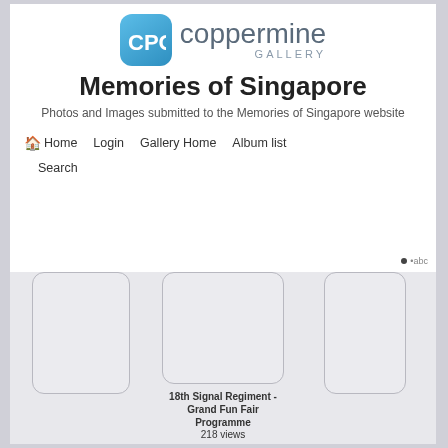[Figure (logo): Coppermine Gallery logo with CPG icon and text]
Memories of Singapore
Photos and Images submitted to the Memories of Singapore website
Home
Login
Gallery Home
Album list
Search
[Figure (photo): Thumbnail placeholder image 1 (empty/loading)]
[Figure (photo): Thumbnail placeholder image 2 - 18th Signal Regiment - Grand Fun Fair Programme, 218 views]
18th Signal Regiment - Grand Fun Fair Programme
218 views
[Figure (photo): Thumbnail placeholder image 3 (partially visible)]